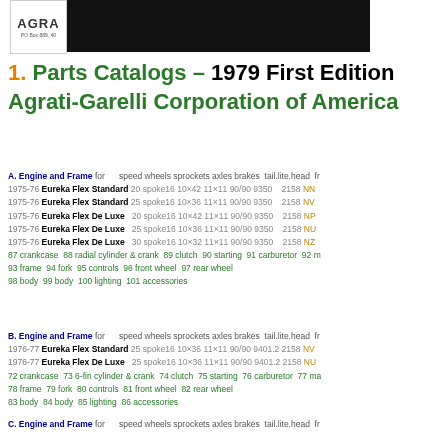[Figure (logo): Agrati-Garelli Corporation logo bar: white panel with AGRA text and PO Box info, followed by black banner]
1. Parts Catalogs – 1979 First Edition Agrati-Garelli Corporation of America
A. Engine and Frame for speed wheels sprockets axles brakes tail.lite.head fr
1975-76 Eureka Flex Standard 20 spoke16 10×42 11×11 90/90 9350 2158 NN
1975-76 Eureka Flex Standard 25 spoke16 10×36 11×11 90/90 9350 2158 NV
1975-76 Eureka Flex De Luxe 20 spoke16 10×42 11×11 90/90 9350 2158 NP
1975-76 Eureka Flex De Luxe 25 spoke16 10×36 11×11 90/90 9350 2158 NU
1975-76 Eureka Flex De Luxe 30 spoke16 10×32 11×11 90/90 9350 2158 NZ
87 crankcase 88 radial cylinder & crank 89 clutch 90 starting 91 carburetor 92 m
93 frame 94 fork 95 controls 96 front wheel 97 rear wheel
98 body 99 body 100 lighting 101 accessories
B. Engine and Frame for speed wheels sprockets axles brakes tail.lite.head fr
1976-77 Eureka Flex Standard 25 spoke16 10×36 11×11 90/90 9401.2 2158 NV
1976-77 Eureka Flex De Luxe 25 spoke16 10×36 11×11 90/90 9401.2 2158 NU
72 crankcase 73 6-fin cylinder & crank 74 clutch 75 starting 76 carburetor 77 ma
78 frame 79 fork 80 controls 81 front wheel 82 rear wheel
83 body 84 body 85 lighting 86 accessories
C. Engine and Frame for speed wheels sprockets axles brakes tail.lite.head fr